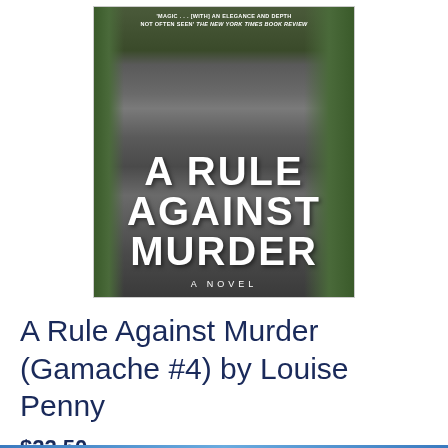[Figure (illustration): Book cover of 'A Rule Against Murder' showing stone steps with moss on a dark background. Text at top reads: 'MAGIC... [WITH] AN ELEGANCE AND DEPTH NOT OFTEN SEEN' THE NEW YORK TIMES BOOK REVIEW. Large white title text: A RULE AGAINST MURDER. Below: A NOVEL.]
A Rule Against Murder (Gamache #4) by Louise Penny
$22.50